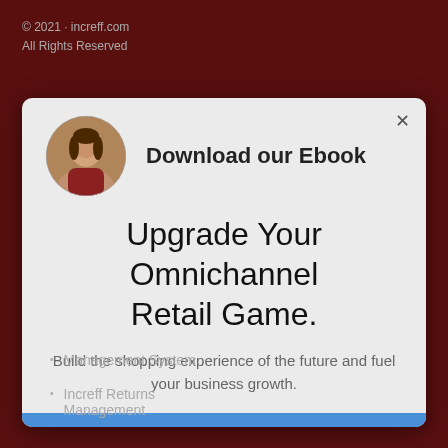© 2021 · increff.com
All Rights Reserved
[Figure (screenshot): Modal popup with circular avatar photo of a woman in red sweater, title 'Download our Ebook', heading 'Upgrade Your Omnichannel Retail Game.', description text 'Build the shopping experience of the future and fuel your business growth.', and a blue button bar at the bottom.]
Management System
Increff Returns Management